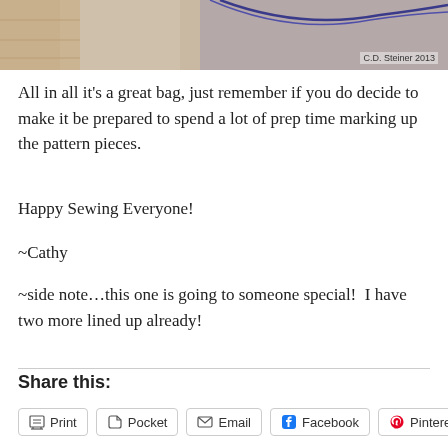[Figure (photo): Partial photo of a bag with blue cord/strap on a surface, watermarked 'C.D. Steiner 2013']
All in all it's a great bag, just remember if you do decide to make it be prepared to spend a lot of prep time marking up the pattern pieces.
Happy Sewing Everyone!
~Cathy
~side note…this one is going to someone special!  I have two more lined up already!
Share this:
Print
Pocket
Email
Facebook
Pinterest